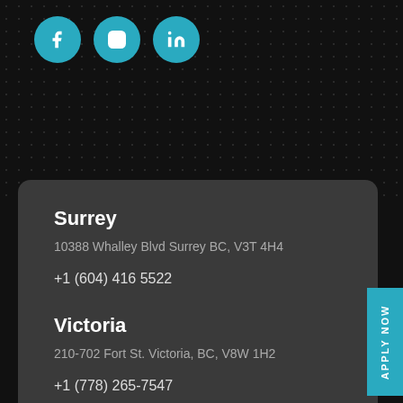[Figure (illustration): Three teal circular social media icon buttons for Facebook (f), Instagram (camera outline), and LinkedIn (in) on a dark background with dot pattern]
Surrey
10388 Whalley Blvd Surrey BC, V3T 4H4
+1 (604) 416 5522
Victoria
210-702 Fort St. Victoria, BC, V8W 1H2
+1 (778) 265-7547